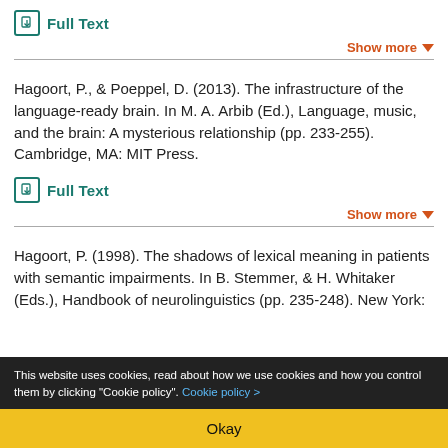Full Text
Show more
Hagoort, P., & Poeppel, D. (2013). The infrastructure of the language-ready brain. In M. A. Arbib (Ed.), Language, music, and the brain: A mysterious relationship (pp. 233–255). Cambridge, MA: MIT Press.
Full Text
Show more
Hagoort, P. (1998). The shadows of lexical meaning in patients with semantic impairments. In B. Stemmer, & H. Whitaker (Eds.), Handbook of neurolinguistics (pp. 235–248). New York:
This website uses cookies, read about how we use cookies and how you control them by clicking "Cookie policy". Cookie policy >
Okay